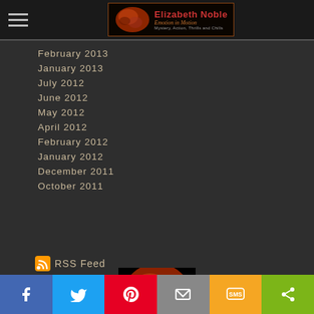Elizabeth Noble — Emotion in Motion — Mystery, Action, Thrills and Chills
February 2013
January 2013
July 2012
June 2012
May 2012
April 2012
February 2012
January 2012
December 2011
October 2011
RSS Feed
[Figure (photo): Red/orange lunar eclipse moon photo thumbnail]
Social share bar: Facebook, Twitter, Pinterest, Email, SMS, Share